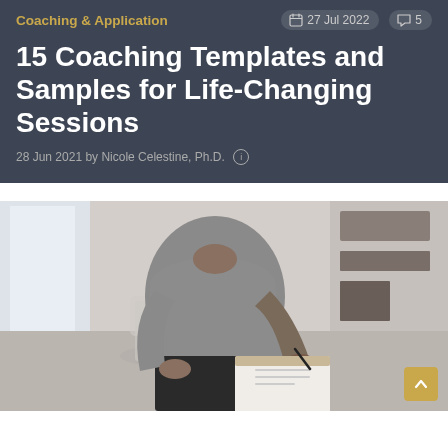Coaching & Application
27 Jul 2022   5
15 Coaching Templates and Samples for Life-Changing Sessions
28 Jun 2021 by Nicole Celestine, Ph.D.
[Figure (photo): Person seated in a clear chair, wearing a grey top and black pants, writing on a clipboard. Background shows a bright window and shelving.]